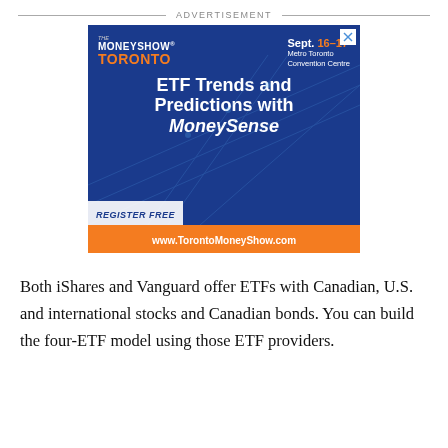ADVERTISEMENT
[Figure (other): Advertisement banner for The MoneyShow Toronto, Sept. 16-17, Metro Toronto Convention Centre. Features 'ETF Trends and Predictions with MoneySense' headline. Register Free at www.TorontoMoneyShow.com]
Both iShares and Vanguard offer ETFs with Canadian, U.S. and international stocks and Canadian bonds. You can build the four-ETF model using those ETF providers.